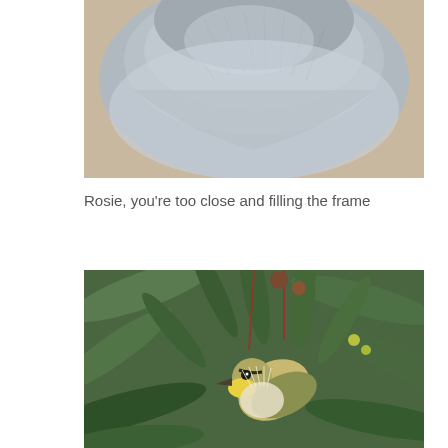[Figure (photo): Close-up photograph of a gray bird (Rosie) shot too close, filling the entire frame with gray feathers and head.]
Rosie, you're too close and filling the frame
[Figure (photo): A small bird (honeyeater) feeding among eucalyptus leaves and blossoms, perched among green leaves with red stems and yellow-tipped flowers.]